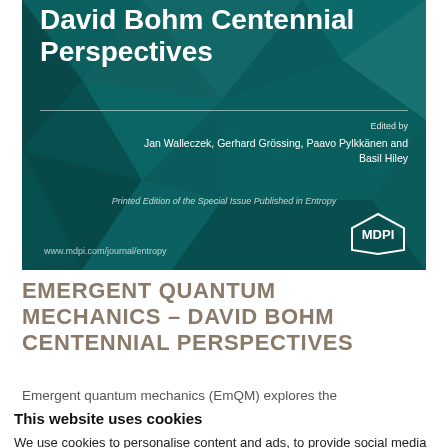[Figure (illustration): Book cover for 'Emergent Quantum Mechanics – David Bohm Centennial Perspectives', teal/dark geometric polygon background, with title text in white, editors list, MDPI logo, and journal URL.]
EMERGENT QUANTUM MECHANICS – DAVID BOHM CENTENNIAL PERSPECTIVES
Emergent quantum mechanics (EmQM) explores the
This website uses cookies
We use cookies to personalise content and ads, to provide social media features and to analyse our traffic. We also share information about your use of our site with our social media advertising and analytics partners